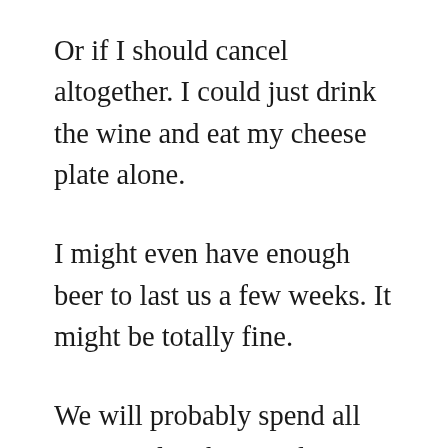Or if I should cancel altogether. I could just drink the wine and eat my cheese plate alone.
I might even have enough beer to last us a few weeks. It might be totally fine.
We will probably spend all our time laughing and enjoying company around the bonfire.